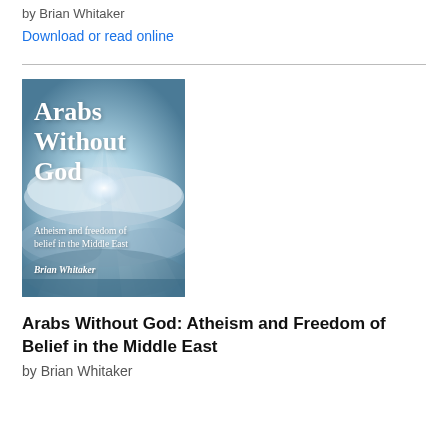by Brian Whitaker
Download or read online
[Figure (illustration): Book cover of 'Arabs Without God: Atheism and freedom of belief in the Middle East' by Brian Whitaker. Cover shows rays of light breaking through clouds on a blue-grey sky background with white bold serif title text.]
Arabs Without God: Atheism and Freedom of Belief in the Middle East
by Brian Whitaker